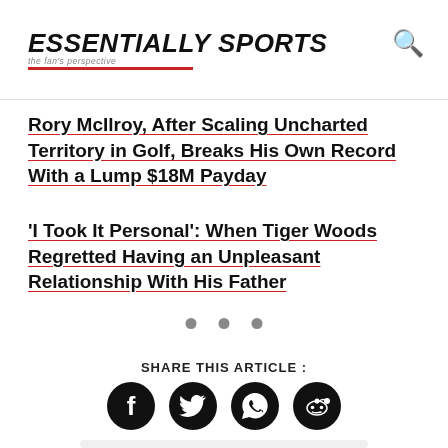ESSENTIALLY SPORTS — the fan's perspective
Rory McIlroy, After Scaling Uncharted Territory in Golf, Breaks His Own Record With a Lump $18M Payday
'I Took It Personal': When Tiger Woods Regretted Having an Unpleasant Relationship With His Father
• • •
SHARE THIS ARTICLE :
[Figure (infographic): Social share icons: Facebook, Twitter, WhatsApp, Reddit]
ADVERTISEMENT